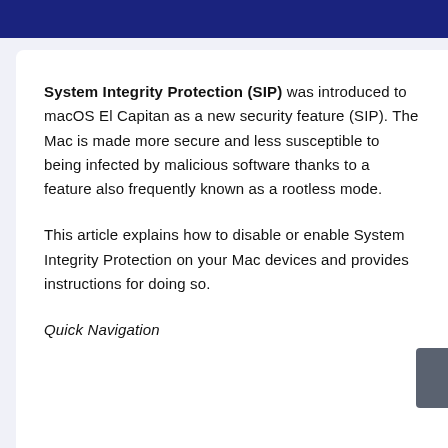System Integrity Protection (SIP) was introduced to macOS El Capitan as a new security feature (SIP). The Mac is made more secure and less susceptible to being infected by malicious software thanks to a feature also frequently known as a rootless mode.
This article explains how to disable or enable System Integrity Protection on your Mac devices and provides instructions for doing so.
Quick Navigation